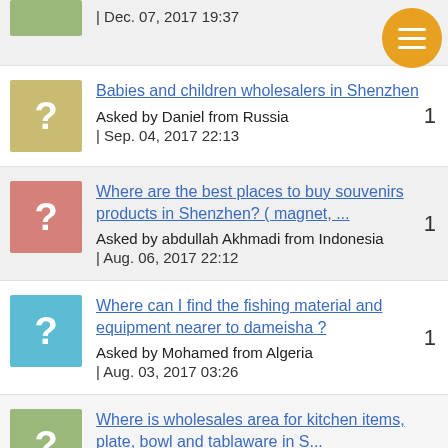| Dec. 07, 2017 19:37
Babies and children wholesalers in Shenzhen — Asked by Daniel from Russia | Sep. 04, 2017 22:13
Where are the best places to buy souvenirs products in Shenzhen? ( magnet, ... — Asked by abdullah Akhmadi from Indonesia | Aug. 06, 2017 22:12
Where can I find the fishing material and equipment nearer to dameisha ? — Asked by Mohamed from Algeria | Aug. 03, 2017 03:26
Where is wholesales area for kitchen items, plate, bowl and tablaware in S...